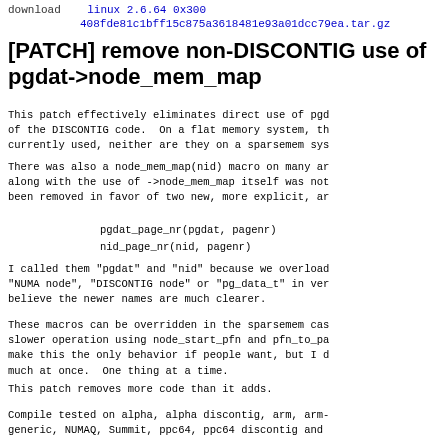download   linux 2.6.64 0x300 408fde81c1bff15c875a3618481e93a01dcc79ea.tar.gz
[PATCH] remove non-DISCONTIG use of pgdat->node_mem_map
This patch effectively eliminates direct use of pgdat->node_mem_map outside of the DISCONTIG code.  On a flat memory system, they are not currently used, neither are they on a sparsemem system.
There was also a node_mem_map(nid) macro on many architectures, along with the use of ->node_mem_map itself was not, and has been removed in favor of two new, more explicit, are:
pgdat_page_nr(pgdat, pagenr)
nid_page_nr(nid, pagenr)
I called them "pgdat" and "nid" because we overload the word "NUMA node", "DISCONTIG node" or "pg_data_t" in very many places. I believe the newer names are much clearer.
These macros can be overridden in the sparsemem case to provide a slower operation using node_start_pfn and pfn_to_page(). We could make this the only behavior if people want, but I don't want to much at once.  One thing at a time.
This patch removes more code than it adds.
Compile tested on alpha, alpha discontig, arm, arm-generic, NUMAQ, Summit, ppc64, ppc64 discontig and...